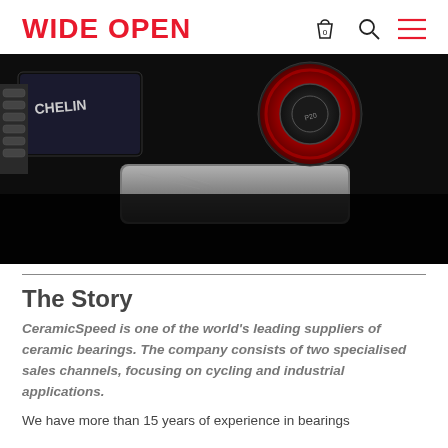WIDE OPEN
[Figure (photo): Close-up photo of cycling components including a red ceramic bearing ring and a metallic component, on a dark background with a Michelin label visible]
The Story
CeramicSpeed is one of the world's leading suppliers of ceramic bearings. The company consists of two specialised sales channels, focusing on cycling and industrial applications.
We have more than 15 years of experience in bearings